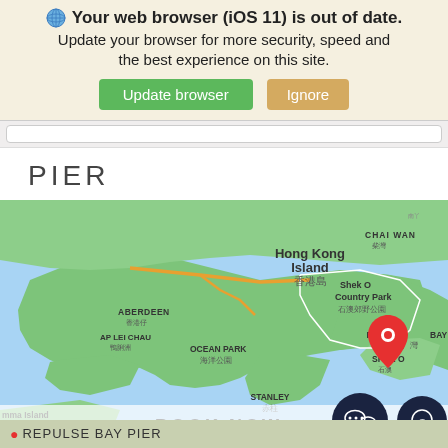[Figure (screenshot): Browser out of date warning banner for iOS 11 with Update browser (green) and Ignore (tan) buttons]
PIER
[Figure (map): Google Maps screenshot showing Hong Kong Island area with a red pin marker near Repulse Bay. Labels include Hong Kong Island 香港島, ABERDEEN 香港仔, AP LEI CHAU 鴨脷洲, OCEAN PARK 海洋公園, REPULSE BAY 淺水灣, Shek O Country Park 石澳郊野公園, CHAI WAN 柴灣, SHEK O 石澳, STANLEY 赤柱, mma Island 南丫島. Bottom bar shows BOOK NOW text and two dark circular social media buttons (WeChat and WhatsApp). Footer reads REPULSE BAY PIER.]